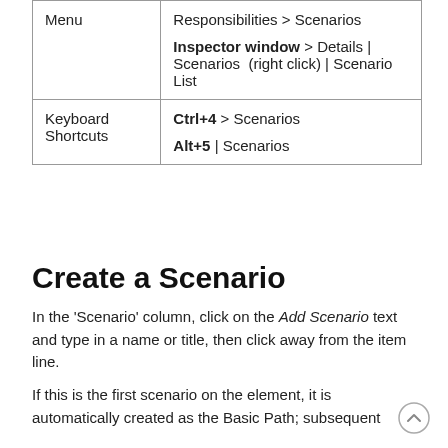| Menu | Responsibilities > Scenarios

Inspector window > Details | Scenarios  (right click) | Scenario List |
| Keyboard Shortcuts | Ctrl+4 > Scenarios

Alt+5 | Scenarios |
Create a Scenario
In the 'Scenario' column, click on the Add Scenario text and type in a name or title, then click away from the item line.
If this is the first scenario on the element, it is automatically created as the Basic Path; subsequent scenarios are automatically created as Alternate paths.